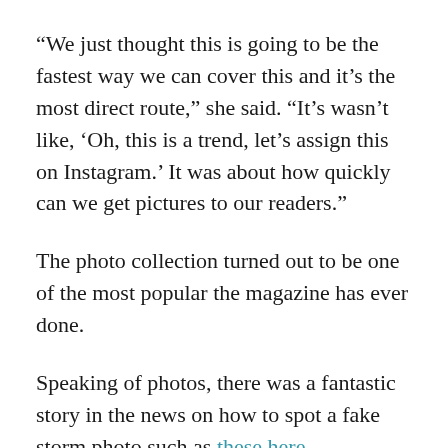“We just thought this is going to be the fastest way we can cover this and it’s the most direct route,” she said. “It’s wasn’t like, ‘Oh, this is a trend, let’s assign this on Instagram.’ It was about how quickly can we get pictures to our readers.”
The photo collection turned out to be one of the most popular the magazine has ever done.
Speaking of photos, there was a fantastic story in the news on how to spot a fake storm photo such as these here.
The Election